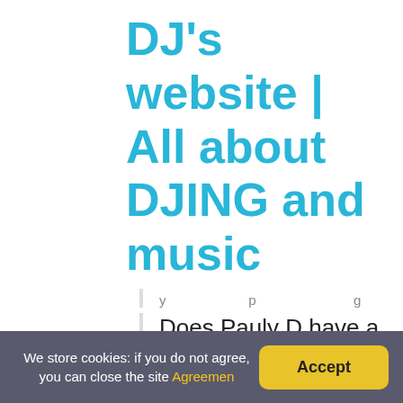DJ's website | All about DJING and music
y p g
Does Pauly D have a daughter?
DelVecchio is in a relationship with Nikki Hall since 2020.
What does Pauly D girlfriend do for a livin
Nikki currently works as a social media influencer. Jen relationship with Nikki Hall.
We store cookies: if you do not agree, you can close the site Agreemen
Accept